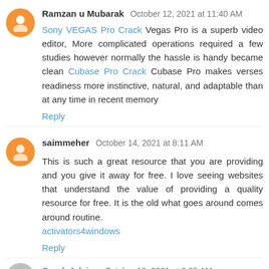Ramzan u Mubarak  October 12, 2021 at 11:40 AM
Sony VEGAS Pro Crack Vegas Pro is a superb video editor, More complicated operations required a few studies however normally the hassle is handy became clean Cubase Pro Crack Cubase Pro makes verses readiness more instinctive, natural, and adaptable than at any time in recent memory
Reply
saimmeher  October 14, 2021 at 8:11 AM
This is such a great resource that you are providing and you give it away for free. I love seeing websites that understand the value of providing a quality resource for free. It is the old what goes around comes around routine. activators4windows
Reply
Crack Advice  October 18, 2021 at 3:05 AM